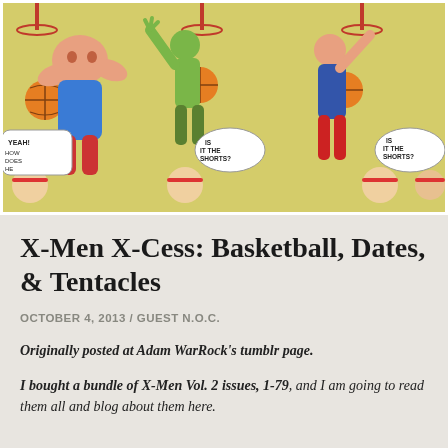[Figure (illustration): Comic book panels showing X-Men characters playing basketball, with speech bubbles saying 'YEAH! HOW DOES HE DO IT?', 'IS IT THE SHORTS?', and 'IS IT THE SHORTS?' Characters have red headbands.]
X-Men X-Cess: Basketball, Dates, & Tentacles
OCTOBER 4, 2013 / GUEST N.O.C.
Originally posted at Adam WarRock's tumblr page.
I bought a bundle of X-Men Vol. 2 issues, 1-79, and I am going to read them all and blog about them here.